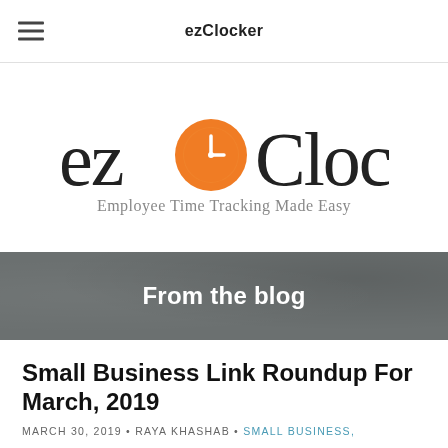ezClocker
[Figure (logo): ezClocker logo: 'ez' text followed by orange circle with clock icon, then 'Clocker' text, and tagline 'Employee Time Tracking Made Easy']
From the blog
Small Business Link Roundup For March, 2019
MARCH 30, 2019 • RAYA KHASHAB • SMALL BUSINESS,